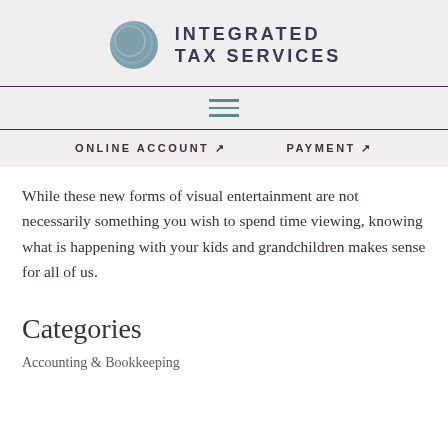INTEGRATED TAX SERVICES
While these new forms of visual entertainment are not necessarily something you wish to spend time viewing, knowing what is happening with your kids and grandchildren makes sense for all of us.
Categories
Accounting & Bookkeeping